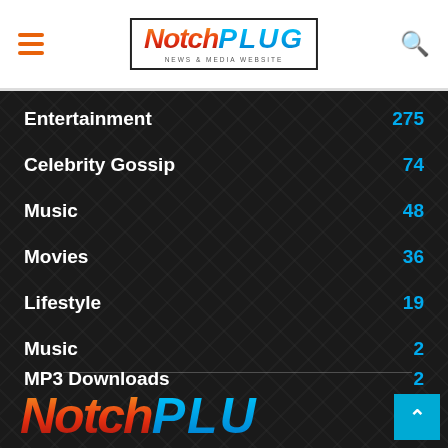NotchPLUG — News & Media Website
Entertainment 275
Celebrity Gossip 74
Music 48
Movies 36
Lifestyle 19
Music 2
MP3 Downloads 2
MP3 Download 2
[Figure (logo): NotchPLUG logo at bottom of page]